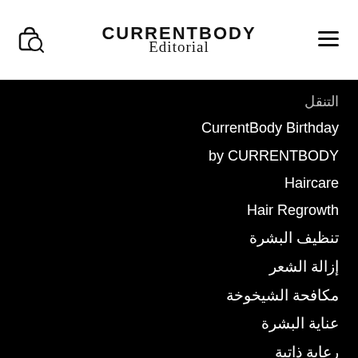CURRENTBODY Editorial
التنقل
CurrentBody Birthday
by CURRENTBODY
Haircare
Hair Regrowth
تنظيف البشرة
إزالة الشعر
مكافحة الشيخوخة
عناية البشرة
رعاية ذاتية
لضمان افضل النتائج